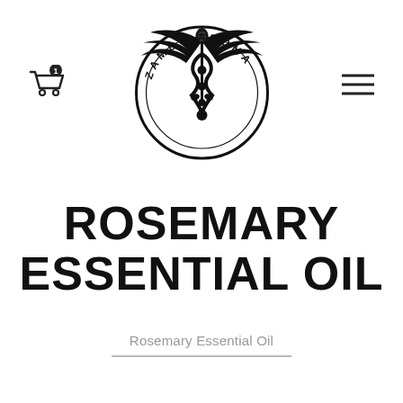[Figure (logo): Zambo Aroma logo: circular emblem with caduceus (winged staff with two serpents) and text 'ZAMBO AROMA' around the circle border, black and white]
ROSEMARY ESSENTIAL OIL
Rosemary Essential Oil